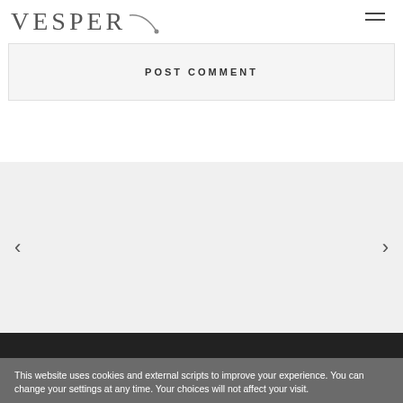VESPER
POST COMMENT
[Figure (other): Slider navigation area with left and right arrow chevrons on a light gray background]
This website uses cookies and external scripts to improve your experience. You can change your settings at any time. Your choices will not affect your visit.
Our Privacy Policy.  Accept